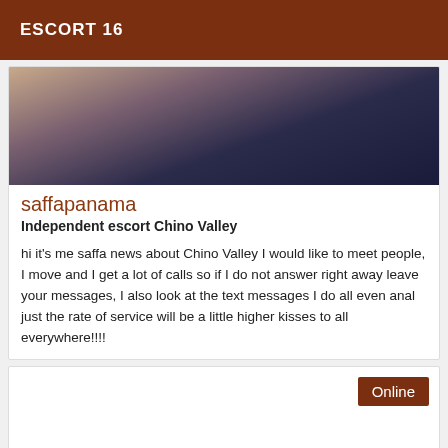ESCORT 16
[Figure (photo): Close-up photo showing a person's body, cropped and partially visible, dark tones]
saffapanama
Independent escort Chino Valley
hi it's me saffa news about Chino Valley I would like to meet people, I move and I get a lot of calls so if I do not answer right away leave your messages, I also look at the text messages I do all even anal just the rate of service will be a little higher kisses to all everywhere!!!!
Online